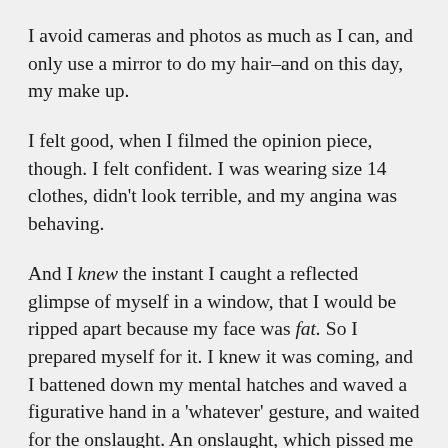I avoid cameras and photos as much as I can, and only use a mirror to do my hair–and on this day, my make up.
I felt good, when I filmed the opinion piece, though. I felt confident. I was wearing size 14 clothes, didn't look terrible, and my angina was behaving.
And I knew the instant I caught a reflected glimpse of myself in a window, that I would be ripped apart because my face was fat. So I prepared myself for it. I knew it was coming, and I battened down my mental hatches and waved a figurative hand in a 'whatever' gesture, and waited for the onslaught. An onslaught, which pissed me off because my gods there are some dickheads out there!